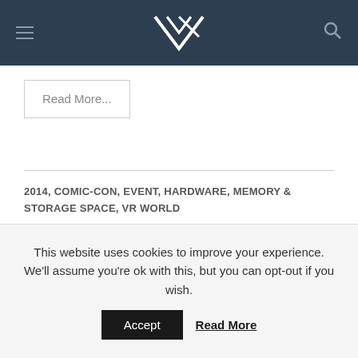VR (logo) navigation bar
Read More...
2014, COMIC-CON, EVENT, HARDWARE, MEMORY & STORAGE SPACE, VR WORLD
CRUCIAL TO LAUNCH SSDS WITH 16NM MEMORY CHIPS
JUNE 2, 2014   3
This website uses cookies to improve your experience. We'll assume you're ok with this, but you can opt-out if you wish.